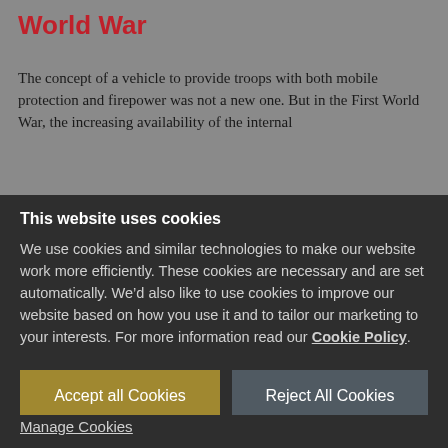World War
The concept of a vehicle to provide troops with both mobile protection and firepower was not a new one. But in the First World War, the increasing availability of the internal
This website uses cookies
We use cookies and similar technologies to make our website work more efficiently. These cookies are necessary and are set automatically. We’d also like to use cookies to improve our website based on how you use it and to tailor our marketing to your interests. For more information read our Cookie Policy.
Accept all Cookies
Reject All Cookies
Manage Cookies